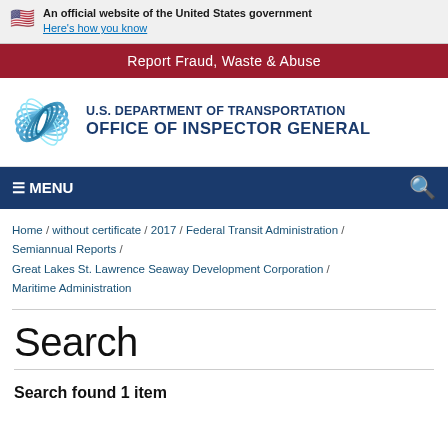An official website of the United States government Here's how you know
Report Fraud, Waste & Abuse
[Figure (logo): U.S. Department of Transportation Office of Inspector General logo with circular blue swirl emblem]
≡ MENU
Home / without certificate / 2017 / Federal Transit Administration / Semiannual Reports / Great Lakes St. Lawrence Seaway Development Corporation / Maritime Administration
Search
Search found 1 item